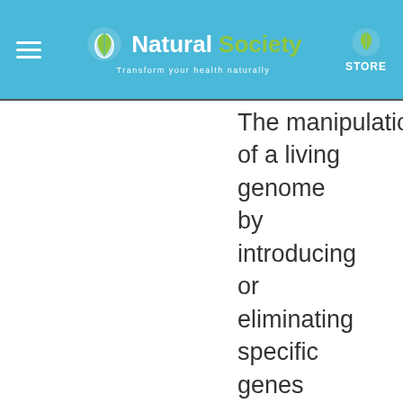Natural Society — Transform your health naturally | STORE
The manipulation of a living genome by introducing or eliminating specific genes through recombinant DNA techniques, which may